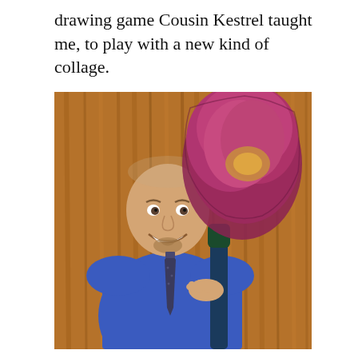drawing game Cousin Kestrel taught me, to play with a new kind of collage.
[Figure (photo): A smiling man in a blue shirt and dark tie holds a large oversized pink/magenta flower (collage element) in front of a wooden plank background. The flower is dramatically large compared to the man, suggesting a photographic collage composition.]